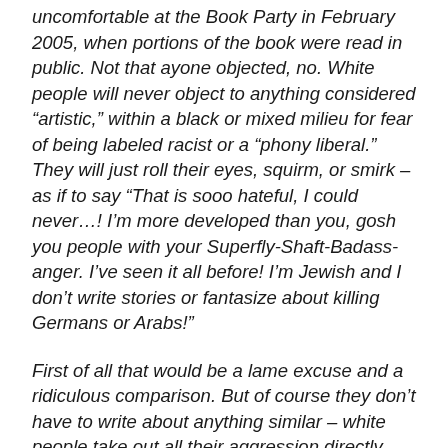uncomfortable at the Book Party in February 2005, when portions of the book were read in public. Not that ayone objected, no. White people will never object to anything considered “artistic,” within a black or mixed milieu for fear of being labeled racist or a “phony liberal.” They will just roll their eyes, squirm, or smirk – as if to say “That is sooo hateful, I could never…! I’m more developed than you, gosh you people with your Superfly-Shaft-Badass-anger. I’ve seen it all before! I’m Jewish and I don’t write stories or fantasize about killing Germans or Arabs!”
First of all that would be a lame excuse and a ridiculous comparison. But of course they don’t have to write about anything similar – white people take out all their aggression directly. They don’t have to write stories, they can blow up countries. They don’t believe in art or therapy and when they they do – they site only musical artists. As